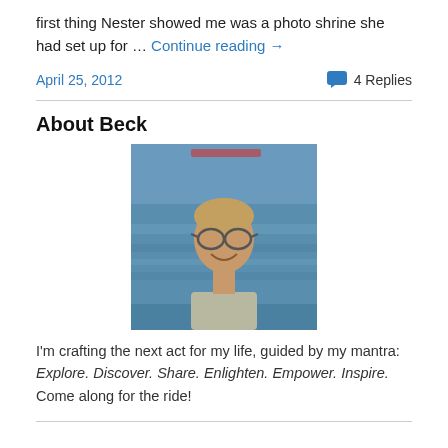first thing Nester showed me was a photo shrine she had set up for … Continue reading →
April 25, 2012   4 Replies
About Beck
[Figure (photo): Portrait photo of a middle-aged man with glasses, smiling, outdoors near water]
I'm crafting the next act for my life, guided by my mantra: Explore. Discover. Share. Enlighten. Empower. Inspire. Come along for the ride!